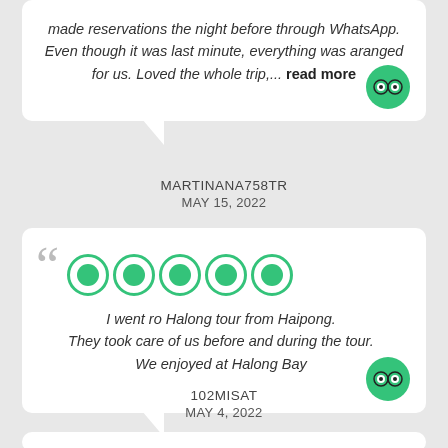made reservations the night before through WhatsApp. Even though it was last minute, everything was aranged for us. Loved the whole trip,... read more
MARTINANA758TR
MAY 15, 2022
I went ro Halong tour from Haipong. They took care of us before and during the tour. We enjoyed at Halong Bay
102MISAT
MAY 4, 2022